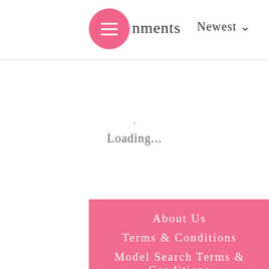nments   Newest
Loading...
About Us
Terms & Conditions
Model Search Terms & Conditions
Book a shoot
Privacy Policy
Win a Shoot
Our Sponsors
Shoots & Products